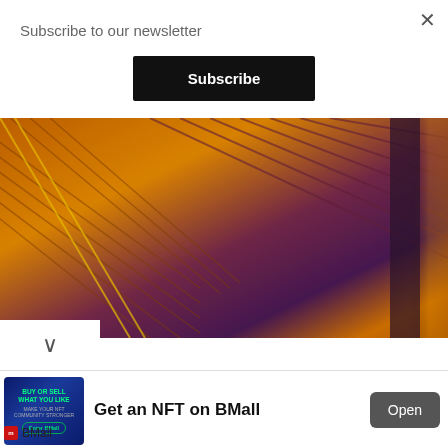Subscribe to our newsletter
Subscribe
[Figure (photo): Close-up aerial or microscopic image with orange, gold, and purple tones showing diagonal striped patterns, resembling a false-color satellite or microscopy image of a surface]
[Figure (screenshot): Advertisement banner for BMall NFT marketplace. Shows 'Buy or Sell What You Like - Make Your NFT Community Stronger - Enter BMall' on left image, 'Get an NFT on BMall' text in center, and 'Open' button on right. BMall logo at bottom left.]